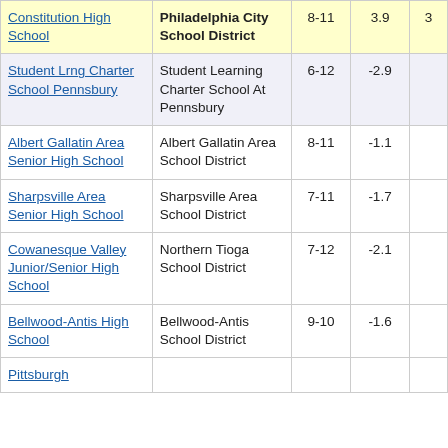| School | District | Grades | Score |  |
| --- | --- | --- | --- | --- |
| Constitution High School | Philadelphia City School District | 8-11 | 3.9 | 3 |
| Student Lrng Charter School Pennsbury | Student Learning Charter School At Pennsbury | 6-12 | -2.9 |  |
| Albert Gallatin Area Senior High School | Albert Gallatin Area School District | 8-11 | -1.1 |  |
| Sharpsville Area Senior High School | Sharpsville Area School District | 7-11 | -1.7 |  |
| Cowanesque Valley Junior/Senior High School | Northern Tioga School District | 7-12 | -2.1 |  |
| Bellwood-Antis High School | Bellwood-Antis School District | 9-10 | -1.6 |  |
| Pittsburgh |  |  |  |  |